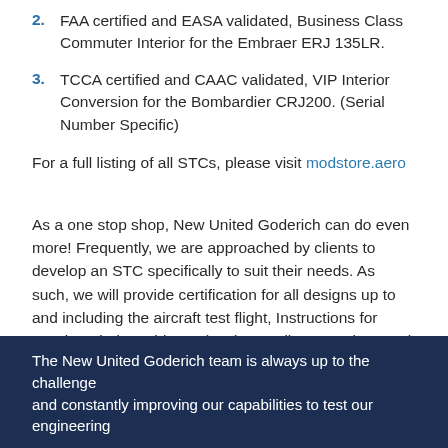2. FAA certified and EASA validated, Business Class Commuter Interior for the Embraer ERJ 135LR.
3. TCCA certified and CAAC validated, VIP Interior Conversion for the Bombardier CRJ200. (Serial Number Specific)
For a full listing of all STCs, please visit modstore.aero
As a one stop shop, New United Goderich can do even more! Frequently, we are approached by clients to develop an STC specifically to suit their needs. As such, we will provide certification for all designs up to and including the aircraft test flight, Instructions for Continued Airworthiness (ICA) as well as Supplemental Type Certificate (STC) support.
The New United Goderich team is always up to the challenge and constantly improving our capabilities to test our engineering...